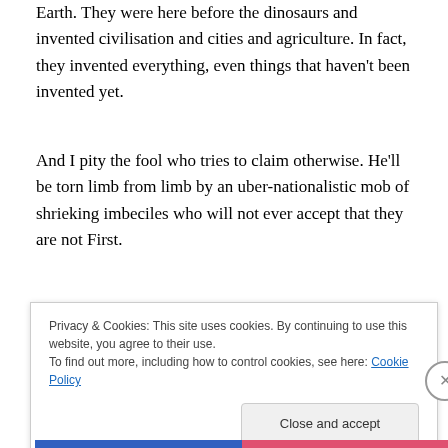Earth. They were here before the dinosaurs and invented civilisation and cities and agriculture. In fact, they invented everything, even things that haven't been invented yet.
And I pity the fool who tries to claim otherwise. He'll be torn limb from limb by an uber-nationalistic mob of shrieking imbeciles who will not ever accept that they are not First.
The thing is, you see, that the Chinese psyche is a brittle one. One and a half billion tantrum-throwing children who lob their toys out of the pram the very instant things look
Privacy & Cookies: This site uses cookies. By continuing to use this website, you agree to their use.
To find out more, including how to control cookies, see here: Cookie Policy
Close and accept